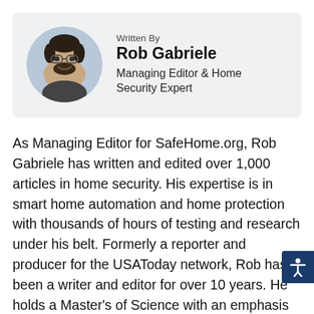[Figure (photo): Circular headshot photo of Rob Gabriele, a young man with dark curly hair, glasses, and a beard, smiling.]
Written By
Rob Gabriele
Managing Editor & Home Security Expert
As Managing Editor for SafeHome.org, Rob Gabriele has written and edited over 1,000 articles in home security. His expertise is in smart home automation and home protection with thousands of hours of testing and research under his belt. Formerly a reporter and producer for the USAToday network, Rob has been a writer and editor for over 10 years. He holds a Master's of Science with an emphasis on writing from the University of